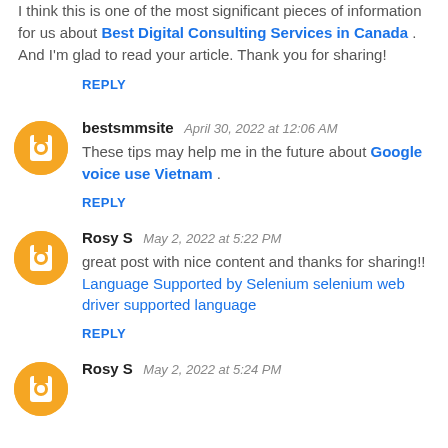I think this is one of the most significant pieces of information for us about Best Digital Consulting Services in Canada . And I'm glad to read your article. Thank you for sharing!
REPLY
bestsmmsite  April 30, 2022 at 12:06 AM
These tips may help me in the future about Google voice use Vietnam .
REPLY
Rosy S  May 2, 2022 at 5:22 PM
great post with nice content and thanks for sharing!! Language Supported by Selenium selenium web driver supported language
REPLY
Rosy S  May 2, 2022 at 5:24 PM